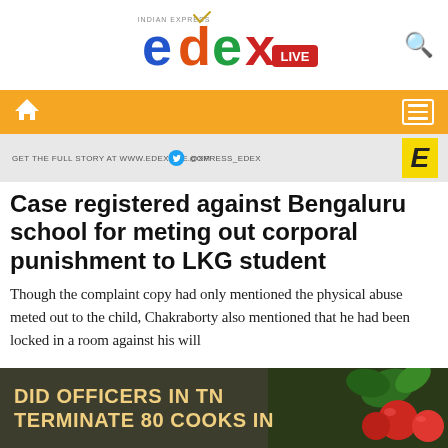edexLIVE - INDIAN EXPRESS
[Figure (logo): EdexLive logo with colorful letters e(blue), d(orange-red), e(green), x(red/orange), with LIVE badge and Indian Express text above]
Navigation bar with home icon and menu icon
[Figure (infographic): Banner bar: GET THE FULL STORY AT WWW.EDEXLIVE.COM | Twitter icon | @XPRESS_EDEX | Yellow E logo on right]
Case registered against Bengaluru school for meting out corporal punishment to LKG student
Though the complaint copy had only mentioned the physical abuse meted out to the child, Chakraborty also mentioned that he had been locked in a room against his will
[Figure (infographic): Ad banner: DID OFFICERS IN TN TERMINATE 80 COOKS IN... with dark olive background and food image on right showing tomatoes and greens]